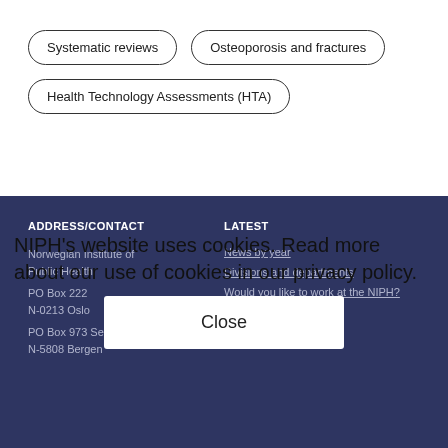Systematic reviews
Osteoporosis and fractures
Health Technology Assessments (HTA)
ADDRESS/CONTACT
Norwegian Institute of Public Health
PO Box 222
N-0213 Oslo
PO Box 973 Sentrum
N-5808 Bergen

LATEST
News by year
Divisions and departments
Would you like to work at the NIPH?
NIPH's website uses cookies. Read more about our use of cookies in our privacy policy.

Close